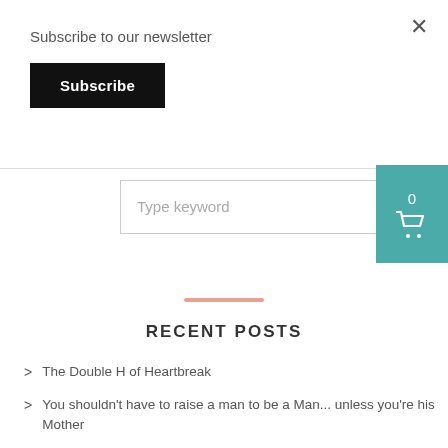Subscribe to our newsletter
Subscribe
Type keyword
0
RECENT POSTS
The Double H of Heartbreak
You shouldn't have to raise a man to be a Man... unless you're his Mother
Super Mom-preneur: The Professional Juggler